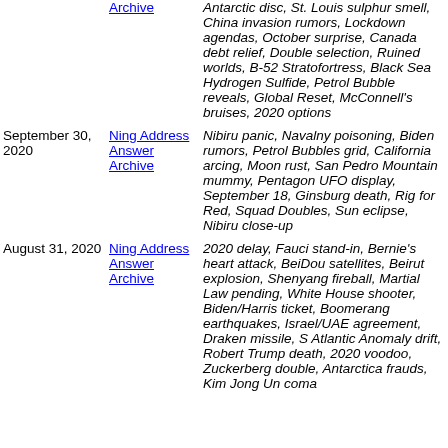| Date | Links | Topics |
| --- | --- | --- |
|  | Archive | Antarctic disc, St. Louis sulphur smell, China invasion rumors, Lockdown agendas, October surprise, Canada debt relief, Double selection, Ruined worlds, B-52 Stratofortress, Black Sea Hydrogen Sulfide, Petrol Bubble reveals, Global Reset, McConnell's bruises, 2020 options |
| September 30, 2020 | Ning Address
Answer
Archive | Nibiru panic, Navalny poisoning, Biden rumors, Petrol Bubbles grid, California arcing, Moon rust, San Pedro Mountain mummy, Pentagon UFO display, September 18, Ginsburg death, Rig for Red, Squad Doubles, Sun eclipse, Nibiru close-up |
| August 31, 2020 | Ning Address
Answer
Archive | 2020 delay, Fauci stand-in, Bernie's heart attack, BeiDou satellites, Beirut explosion, Shenyang fireball, Martial Law pending, White House shooter, Biden/Harris ticket, Boomerang earthquakes, Israel/UAE agreement, Draken missile, S Atlantic Anomaly drift, Robert Trump death, 2020 voodoo, Zuckerberg double, Antarctica frauds, Kim Jong Un coma |